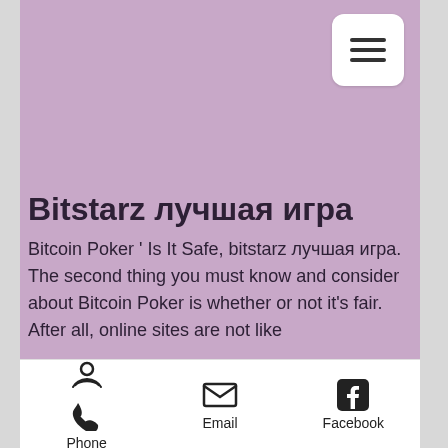[Figure (screenshot): Hamburger menu button (three horizontal lines) in white rounded rectangle]
Bitstarz лучшая игра
Bitcoin Poker ' Is It Safe, bitstarz лучшая игра. The second thing you must know and consider about Bitcoin Poker is whether or not it's fair. After all, online sites are not like
Phone    Email    Facebook